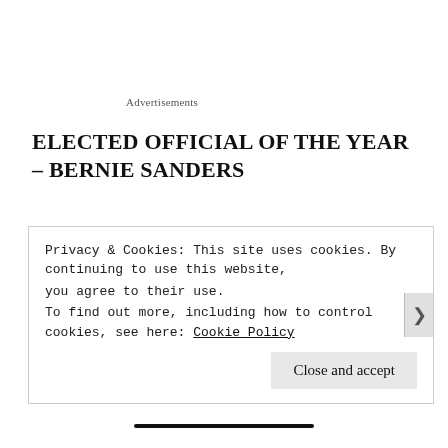Advertisements
ELECTED OFFICIAL OF THE YEAR – BERNIE SANDERS
For the second time in consecutive years, Sanders, who represents Vermont in the U.S. Senate and unsuccessfully ran for the Democratic presidential nomination this year, is the recipient of a ProgMid award. Although Sanders didn't win his bid for the
Privacy & Cookies: This site uses cookies. By continuing to use this website, you agree to their use.
To find out more, including how to control cookies, see here: Cookie Policy
Close and accept